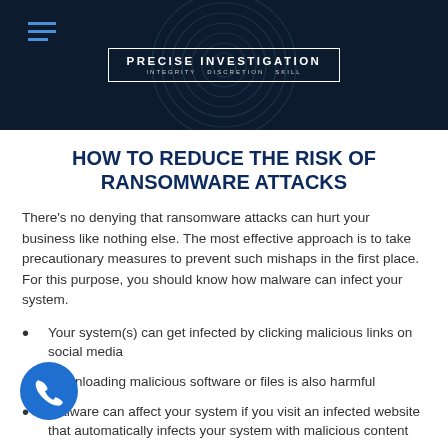PRECISE INVESTIGATION · INTEGRITY · DISCRETION · SKILL
HOW TO REDUCE THE RISK OF RANSOMWARE ATTACKS
There's no denying that ransomware attacks can hurt your business like nothing else. The most effective approach is to take precautionary measures to prevent such mishaps in the first place. For this purpose, you should know how malware can infect your system.
Your system(s) can get infected by clicking malicious links on social media
Downloading malicious software or files is also harmful
Malware can affect your system if you visit an infected website that automatically infects your system with malicious content
Cybercriminals may target the main server of your organization